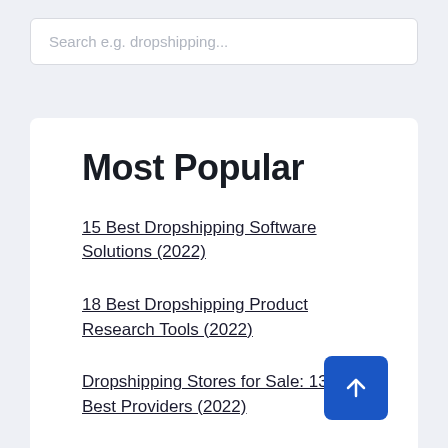Search e.g. dropshipping...
Most Popular
15 Best Dropshipping Software Solutions (2022)
18 Best Dropshipping Product Research Tools (2022)
Dropshipping Stores for Sale: 13 Best Providers (2022)